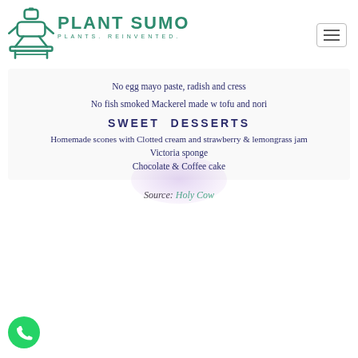[Figure (logo): Plant Sumo logo: green sumo wrestler icon with text PLANT SUMO and tagline PLANTS. REINVENTED.]
No egg mayo paste, radish and cress
No fish smoked Mackerel made w tofu and nori
SWEET  DESSERTS
Homemade scones with Clotted cream and strawberry & lemongrass jam
Victoria sponge
Chocolate & Coffee cake
Source: Holy Cow
[Figure (logo): WhatsApp green chat icon in bottom left corner]